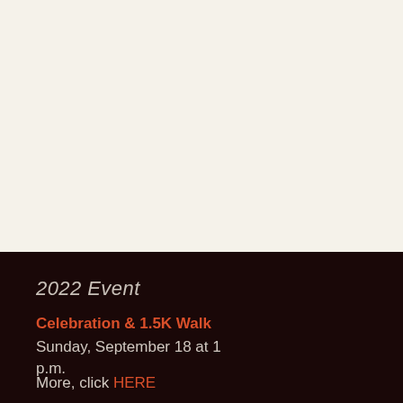2022 Event
Celebration & 1.5K Walk
Sunday, September 18 at 1 p.m.
More, click HERE